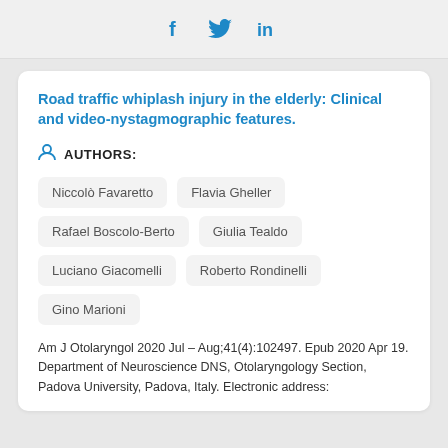[Figure (other): Social share icons: Facebook (f), Twitter (bird), LinkedIn (in)]
Road traffic whiplash injury in the elderly: Clinical and video-nystagmographic features.
AUTHORS:
Niccolò Favaretto
Flavia Gheller
Rafael Boscolo-Berto
Giulia Tealdo
Luciano Giacomelli
Roberto Rondinelli
Gino Marioni
Am J Otolaryngol 2020 Jul - Aug;41(4):102497. Epub 2020 Apr 19.
Department of Neuroscience DNS, Otolaryngology Section, Padova University, Padova, Italy. Electronic address: